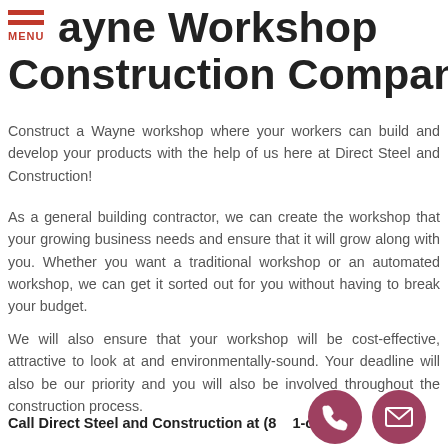Wayne Workshop Construction Company
Construct a Wayne workshop where your workers can build and develop your products with the help of us here at Direct Steel and Construction!
As a general building contractor, we can create the workshop that your growing business needs and ensure that it will grow along with you. Whether you want a traditional workshop or an automated workshop, we can get it sorted out for you without having to break your budget.
We will also ensure that your workshop will be cost-effective, attractive to look at and environmentally-sound. Your deadline will also be our priority and you will also be involved throughout the construction process.
Call Direct Steel and Construction at (8__1- or